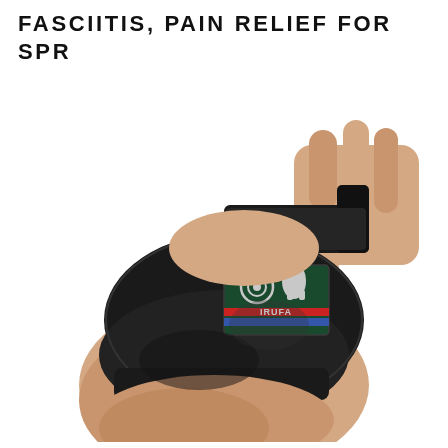FASCIITIS, PAIN RELIEF FOR SPR
[Figure (photo): Photo of a human ankle/heel wearing a black neoprene ankle support brace (IRUFA brand). A hand is shown adjusting the velcro strap at the top. The brace has a rectangular IRUFA logo patch with a dark green background, a penguin/eagle graphic, red and blue stripes, and the text IRUFA.]